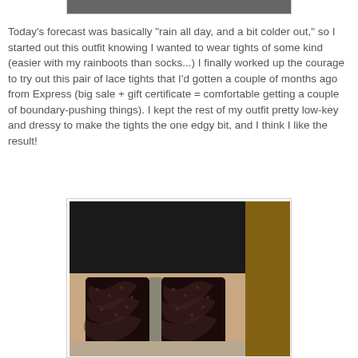[Figure (photo): Top strip of a photo showing the upper part of a person's outfit, cropped at the top of the page]
Today's forecast was basically "rain all day, and a bit colder out," so I started out this outfit knowing I wanted to wear tights of some kind (easier with my rainboots than socks...) I finally worked up the courage to try out this pair of lace tights that I'd gotten a couple of months ago from Express (big sale + gift certificate = comfortable getting a couple of boundary-pushing things). I kept the rest of my outfit pretty low-key and dressy to make the tights the one edgy bit, and I think I like the result!
[Figure (photo): Photo showing a close-up of legs wearing black lace tights and a black skirt, standing in front of a wooden surface]